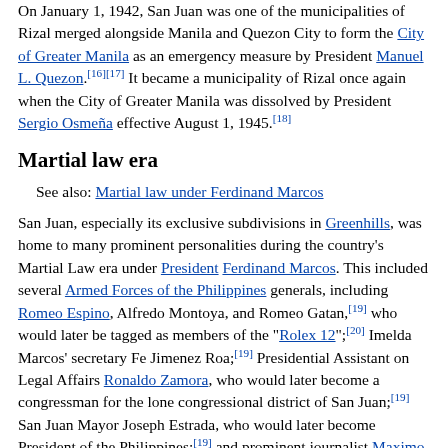On January 1, 1942, San Juan was one of the municipalities of Rizal merged alongside Manila and Quezon City to form the City of Greater Manila as an emergency measure by President Manuel L. Quezon.[16][17] It became a municipality of Rizal once again when the City of Greater Manila was dissolved by President Sergio Osmeña effective August 1, 1945.[18]
Martial law era
See also: Martial law under Ferdinand Marcos
San Juan, especially its exclusive subdivisions in Greenhills, was home to many prominent personalities during the country's Martial Law era under President Ferdinand Marcos. This included several Armed Forces of the Philippines generals, including Romeo Espino, Alfredo Montoya, and Romeo Gatan,[19] who would later be tagged as members of the "Rolex 12";[20] Imelda Marcos' secretary Fe Jimenez Roa;[19] Presidential Assistant on Legal Affairs Ronaldo Zamora, who would later become a congressman for the lone congressional district of San Juan;[19] San Juan Mayor Joseph Estrada, who would later become President of the Philippines;[19] and prominent journalist Maximo Soliven, who was imprisoned when President Marcos first declared Martial Law